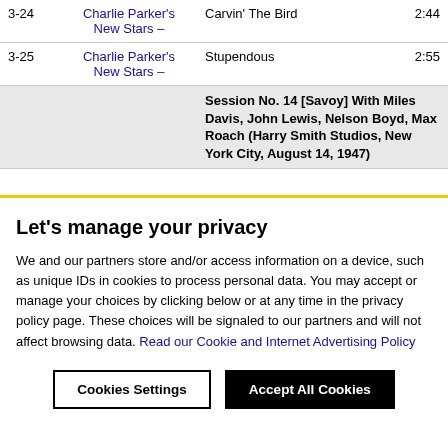| # | Artist | Title | Time |
| --- | --- | --- | --- |
| 3-24 | Charlie Parker's New Stars – | Carvin' The Bird | 2:44 |
| 3-25 | Charlie Parker's New Stars – | Stupendous | 2:55 |
|  |  | Session No. 14 [Savoy] With Miles Davis, John Lewis, Nelson Boyd, Max Roach (Harry Smith Studios, New York City, August 14, 1947) |  |
Let's manage your privacy
We and our partners store and/or access information on a device, such as unique IDs in cookies to process personal data. You may accept or manage your choices by clicking below or at any time in the privacy policy page. These choices will be signaled to our partners and will not affect browsing data. Read our Cookie and Internet Advertising Policy